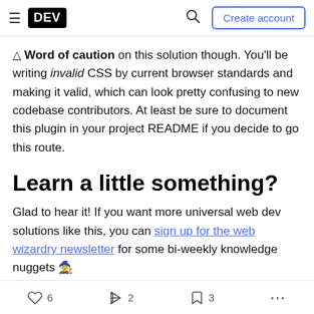DEV — Create account
⚠ Word of caution on this solution though. You'll be writing invalid CSS by current browser standards and making it valid, which can look pretty confusing to new codebase contributors. At least be sure to document this plugin in your project README if you decide to go this route.
Learn a little something?
Glad to hear it! If you want more universal web dev solutions like this, you can sign up for the web wizardry newsletter for some bi-weekly knowledge nuggets 🧙
6 likes  2 unicorns  3 bookmarks  more options